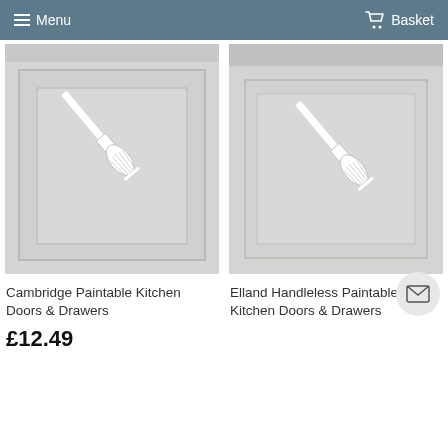Menu   Basket
[Figure (illustration): Cambridge Paintable Kitchen Door - light grey shaker style cabinet door with a paint brush illustration overlay]
Cambridge Paintable Kitchen Doors & Drawers
£12.49
[Figure (illustration): Elland Handleless Paintable Vinyl Kitchen Door - light grey flat panel cabinet door with a paint brush illustration overlay]
Elland Handleless Paintable Vinyl Kitchen Doors & Drawers